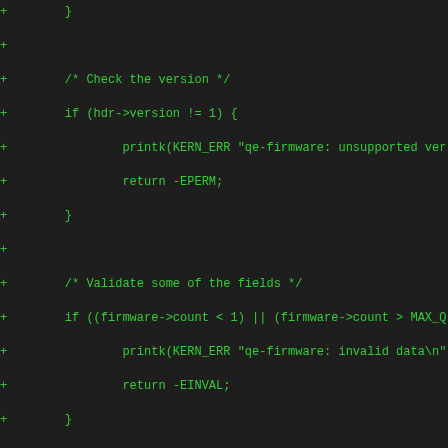Code diff showing C kernel firmware validation logic with version check, field validation, CRC length validation, and microcode size calculation loop.